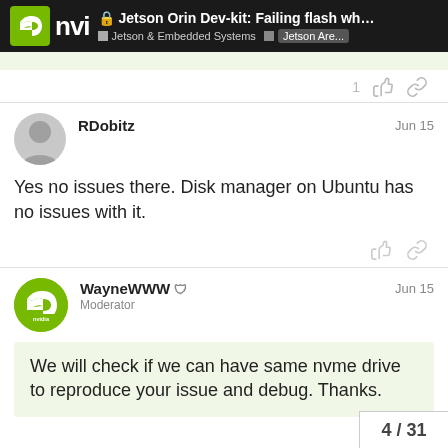Jetson Orin Dev-kit: Failing flash whe... | Jetson & Embedded Systems | Jetson A re...
Yes no issues there. Disk manager on Ubuntu has no issues with it.
RDobitz  Jun 15
WayneWWW Moderator  Jun 15
We will check if we can have same nvme drive to reproduce your issue and debug. Thanks.